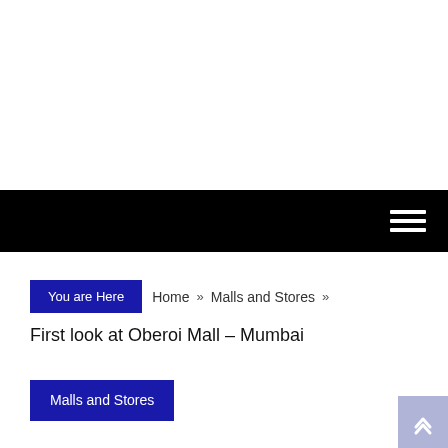Navigation bar with hamburger menu
You are Here  Home » Malls and Stores »
First look at Oberoi Mall – Mumbai
Malls and Stores